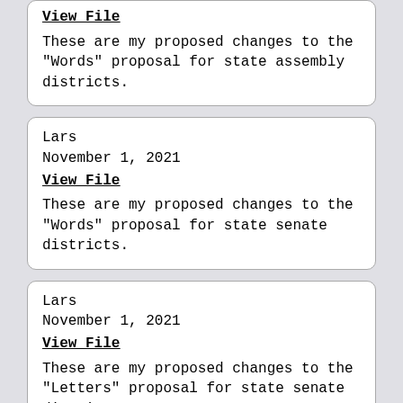View File
These are my proposed changes to the "Words" proposal for state assembly districts.
Lars
November 1, 2021
View File
These are my proposed changes to the "Words" proposal for state senate districts.
Lars
November 1, 2021
View File
These are my proposed changes to the "Letters" proposal for state senate districts.
Lars
November 1, 2021
View File